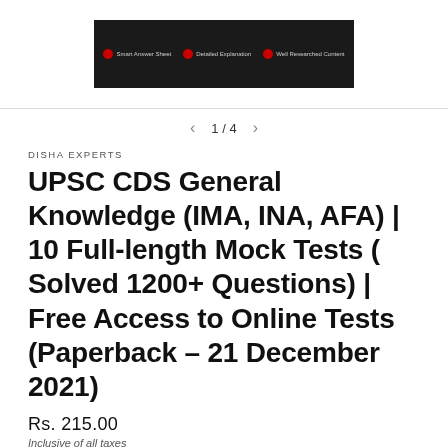[Figure (screenshot): Dark banner with icons and text: Smart Answer Sheet, Detailed Explanation, Well Researched Content]
1 / 4
DISHA EXPERTS
UPSC CDS General Knowledge (IMA, INA, AFA) | 10 Full-length Mock Tests ( Solved 1200+ Questions) | Free Access to Online Tests (Paperback – 21 December 2021)
Rs. 215.00
Inclusive of all taxes